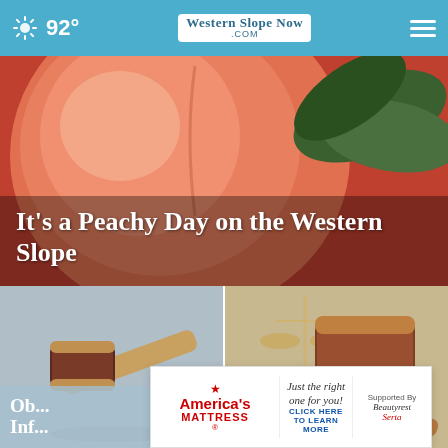WesternSlopeNow.com — 92°
[Figure (photo): Close-up photo of a peach fruit with green leaves in the background]
It's a Peachy Day on the Western Slope
[Figure (photo): Close-up of a dark wooden judge's gavel on a reflective surface]
[Figure (photo): Judge's gavel with scales of justice in the background]
Ob... Information... to... Year
[Figure (other): Advertisement for America's Mattress: 'Just the right one for you! Click here to learn more.' Supported by Beautyrest and Serta.]